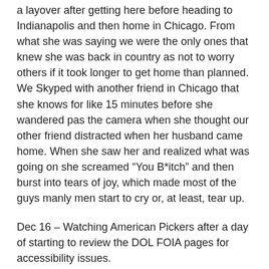a layover after getting here before heading to Indianapolis and then home in Chicago. From what she was saying we were the only ones that knew she was back in country as not to worry others if it took longer to get home than planned. We Skyped with another friend in Chicago that she knows for like 15 minutes before she wandered pas the camera when she thought our other friend distracted when her husband came home. When she saw her and realized what was going on she screamed “You B*itch” and then burst into tears of joy, which made most of the guys manly men start to cry or, at least, tear up.
Dec 16 – Watching American Pickers after a day of starting to review the DOL FOIA pages for accessibility issues.
Dec 17 – Watching Big Bang theory to see what was going to happen with Sheldon and Amy after they kissed for the first time the week before. Sheldon had to choose between spending time with Amy or going to see Star Wars with the rest of the guys. I will leave it there in case people haven’t seen the episode yet. Finalized reviewing